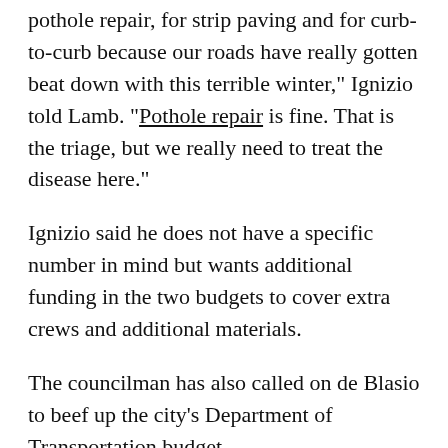pothole repair, for strip paving and for curb-to-curb because our roads have really gotten beat down with this terrible winter," Ignizio told Lamb. "Pothole repair is fine. That is the triage, but we really need to treat the disease here."
Ignizio said he does not have a specific number in mind but wants additional funding in the two budgets to cover extra crews and additional materials.
The councilman has also called on de Blasio to beef up the city's Department of Transportation budget.
As WCBS 880's Marla Diamond reported, technology exists that could prevent the seemingly endless cycle of pothole repairs.